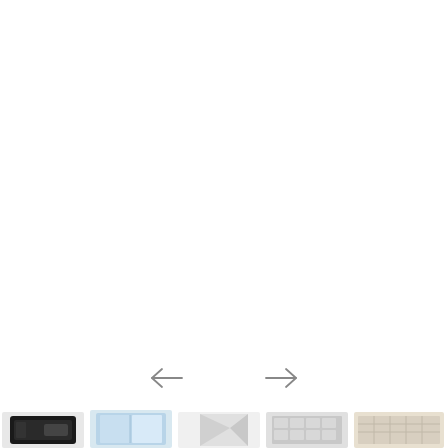[Figure (screenshot): Navigation arrows (left and right) for a carousel or slideshow interface, with thumbnail images at the bottom showing various small product or document images.]